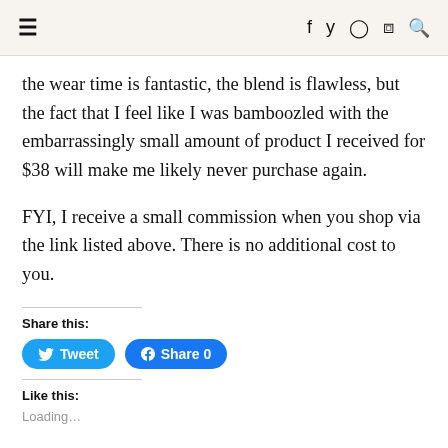≡   f  ʏ  ⊙  ⊕  🔍
the wear time is fantastic, the blend is flawless, but the fact that I feel like I was bamboozled with the embarrassingly small amount of product I received for $38 will make me likely never purchase again.
FYI, I receive a small commission when you shop via the link listed above. There is no additional cost to you.
Share this:
[Figure (other): Tweet and Facebook Share buttons]
Like this:
Loading...